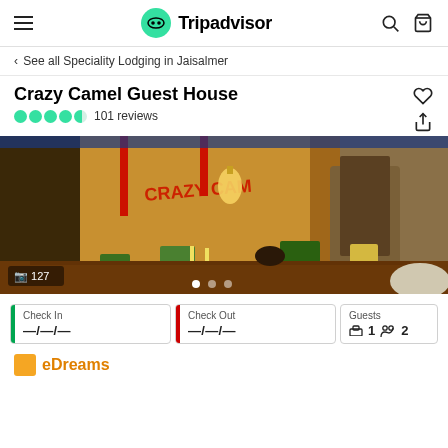Tripadvisor
< See all Speciality Lodging in Jaisalmer
Crazy Camel Guest House
101 reviews
[Figure (photo): Interior courtyard of Crazy Camel Guest House at night, with colorful decorations, lanterns, plants, and red painted walls with 'Crazy Camel' text]
127
| Check In | Check Out | Guests |
| --- | --- | --- |
| —/—/— | —/—/— | 1  2 |
eDreams